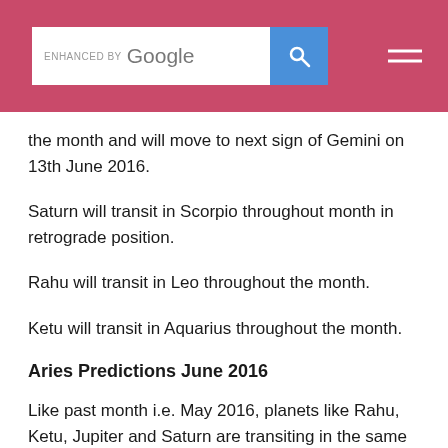ENHANCED BY Google [search bar with blue search button] [hamburger menu]
the month and will move to next sign of Gemini on 13th June 2016.
Saturn will transit in Scorpio throughout month in retrograde position.
Rahu will transit in Leo throughout the month.
Ketu will transit in Aquarius throughout the month.
Aries Predictions June 2016
Like past month i.e. May 2016, planets like Rahu, Ketu, Jupiter and Saturn are transiting in the same house. Some of the circumstances will generally remain same compared to last month due to transit of these planets in the same house.